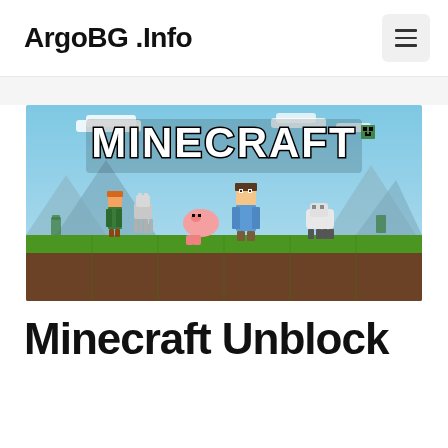ArgoBG .Info
[Figure (illustration): Minecraft game promotional image showing the Minecraft logo at the top and blocky-style game characters including Alex, a wolf, Steve, a pig, and a sheep standing on grass blocks with mountains in the background.]
Minecraft Unblock